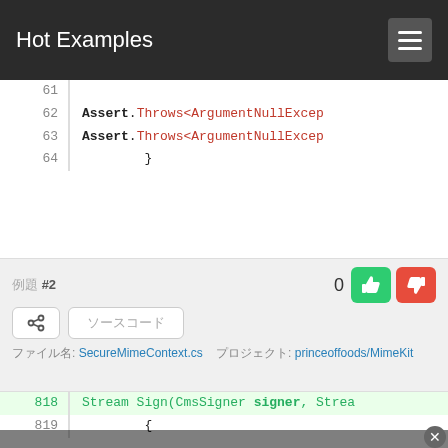Hot Examples
[Figure (screenshot): Code snippet showing lines 61-64 with Assert.Throws<ArgumentNullException> calls in red, closing brace in line 64]
例題 #2
0
ファイル名: SecureMimeContext.cs   プロジェクト: princeoffoods/MimeKit
[Figure (screenshot): Code snippet showing line 818 highlighted in green: Stream Sign(CmsSigner signer, Strea..., line 819: {, line 820 partially visible]